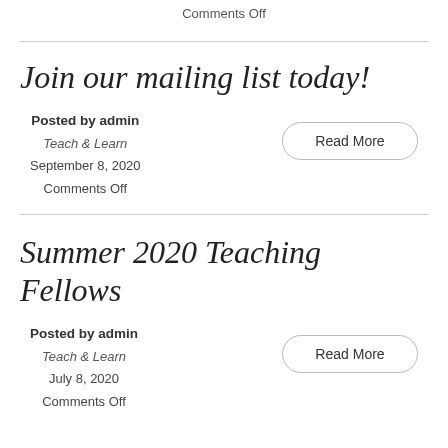Comments Off
Join our mailing list today!
Posted by admin
Teach & Learn
September 8, 2020
Comments Off
Summer 2020 Teaching Fellows
Posted by admin
Teach & Learn
July 8, 2020
Comments Off